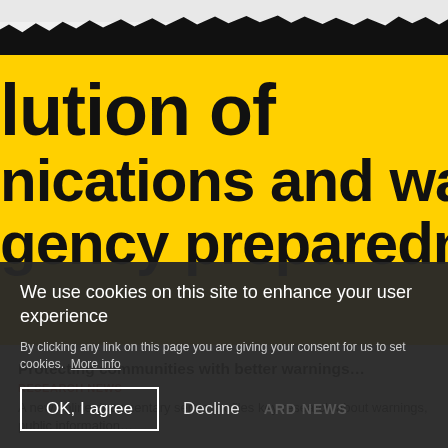[Figure (screenshot): Screenshot of a government/research website showing a yellow banner with large bold text about communications and warnings emergency preparedness, partially cropped. A black torn-edge band appears at the top.]
Protecting communities with better warnings...
RESEARCH NEWS
A new online documentary series profiles key research about warnings, public information...
We use cookies on this site to enhance your user experience
By clicking any link on this page you are giving your consent for us to set cookies.  More info
OK, I agree
Decline